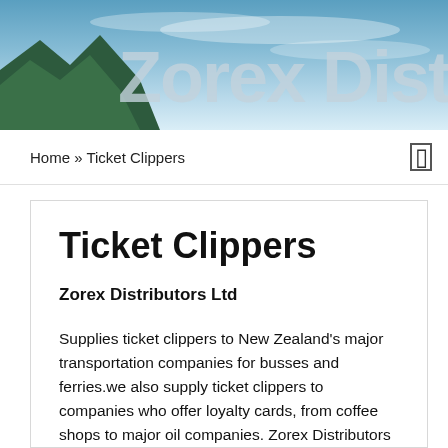[Figure (illustration): Website header banner with sky and mountains background, text reading 'Zorex Distributo' (partially visible)]
Home » Ticket Clippers
Ticket Clippers
Zorex Distributors Ltd
Supplies ticket clippers to New Zealand's major transportation companies for busses and ferries.we also supply ticket clippers to companies who offer loyalty cards, from coffee shops to major oil companies. Zorex Distributors Ltd ticket clippers are the finest quality with harden metal anvils available in a huge selection of numbers and designs.Our clients also include fire